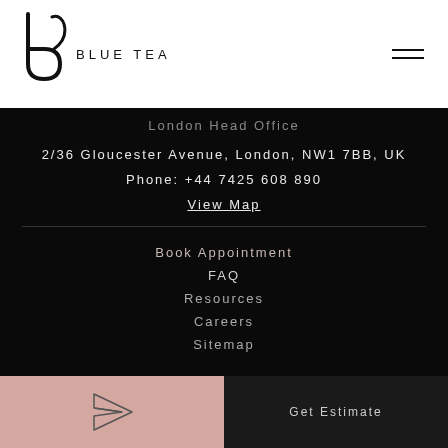BLUE TEA
London Head Office
2/36 Gloucester Avenue, London, NW1 7BB, UK
Phone: +44 7425 608 890
View Map
Book Appointment
FAQ
Resources
Careers
Sitemap
Get Estimate